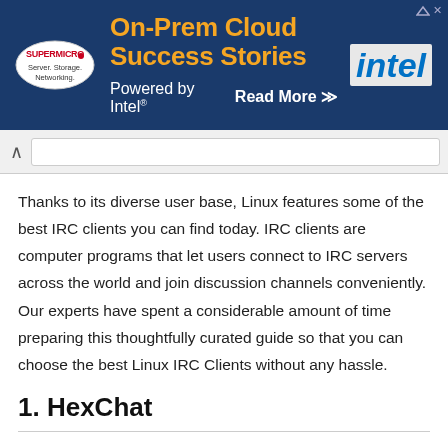[Figure (screenshot): Advertisement banner for Supermicro On-Prem Cloud Success Stories, Powered by Intel, with Read More link and Intel logo]
[Figure (screenshot): Browser navigation bar with back arrow and URL address bar]
Thanks to its diverse user base, Linux features some of the best IRC clients you can find today. IRC clients are computer programs that let users connect to IRC servers across the world and join discussion channels conveniently. Our experts have spent a considerable amount of time preparing this thoughtfully curated guide so that you can choose the best Linux IRC Clients without any hassle.
1. HexChat
HexChat is a lucrative choice for Linux users thanks to